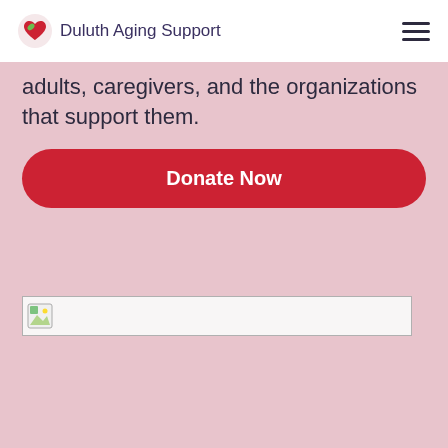Duluth Aging Support
adults, caregivers, and the organizations that support them.
[Figure (other): Red rounded rectangle button with white bold text 'Donate Now']
[Figure (other): Broken/missing image placeholder with small icon, shown as a bordered rectangle]